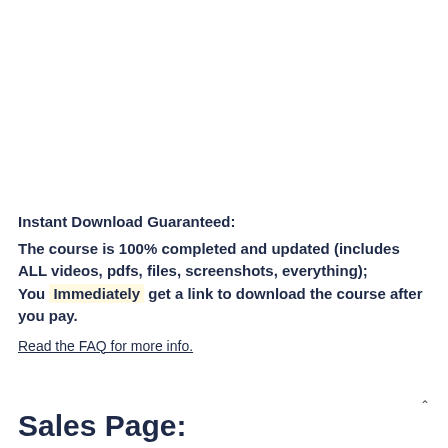Instant Download Guaranteed:
The course is 100% completed and updated (includes ALL videos, pdfs, files, screenshots, everything); You Immediately get a link to download the course after you pay.
Read the FAQ for more info.
Sales Page: